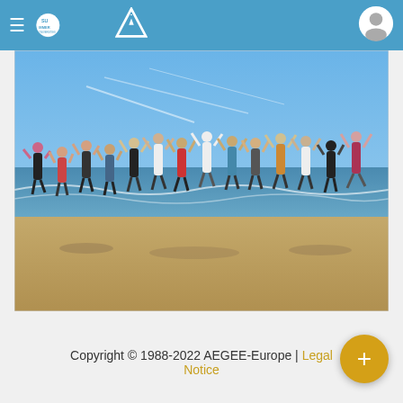Summer Universities | AEGEE-Europe navigation bar
[Figure (photo): Group of young people jumping on a beach with arms raised, blue sky with clouds in background, ocean waves visible, sandy beach in foreground.]
Copyright © 1988-2022 AEGEE-Europe | Legal Notice